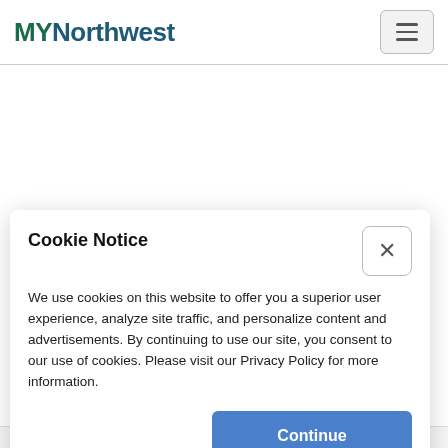MYNorthwest
Cookie Notice
We use cookies on this website to offer you a superior user experience, analyze site traffic, and personalize content and advertisements. By continuing to use our site, you consent to our use of cookies. Please visit our Privacy Policy for more information.
Continue
FOLLOW ON FACEBOOK